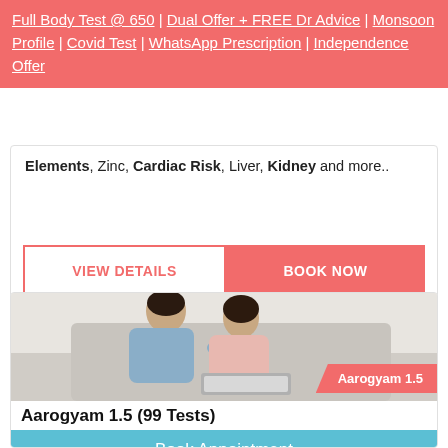Full Body Test @ 650 | Dual Offer + FREE Dr Advice | Monsoon Profile | Covid Test | WhatsApp Prescription | Independence Offer
Elements, Zinc, Cardiac Risk, Liver, Kidney and more..
VIEW DETAILS
BOOK NOW
[Figure (photo): Photo of a smiling couple sitting together on a couch with a laptop, with Aarogyam 1.5 badge overlay in bottom right corner]
Aarogyam 1.5 (99 Tests)
Book Appointment